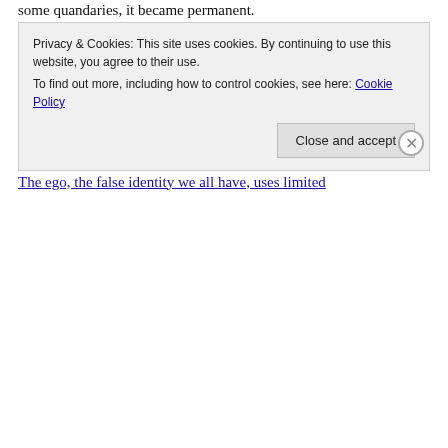some quandaries, it became permanent.
Having absorbed this pattern myself (until I was able to notice when it showed up), I would adopt the same mental responses: I don't know what to do. What am I going to do? I don't know what to do.
The result was feeling stuck, not knowing where to turn.
The ego, the false identity we all have, uses limited
Privacy & Cookies: This site uses cookies. By continuing to use this website, you agree to their use.
To find out more, including how to control cookies, see here: Cookie Policy